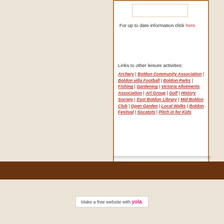For up to date information click here
Links to other leisure activities: Archery | Boldon Community Association | Boldon villa Football | Boldon Parks | Fishing | Gardening | Victoria Allotments Association | Art Group | Golf | History Society | East Boldon Library | Mid Boldon Club | Open Garden | Local Walks | Boldon Festival | Socatots | Pitch in for Kids
Make a free website with yola.